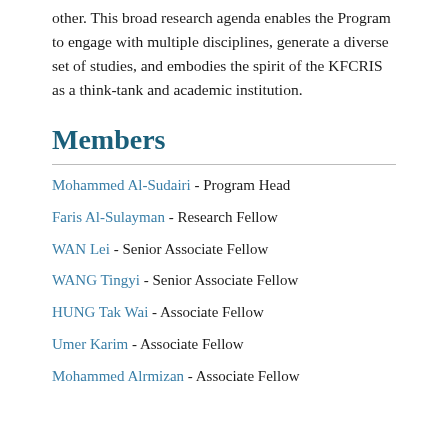other. This broad research agenda enables the Program to engage with multiple disciplines, generate a diverse set of studies, and embodies the spirit of the KFCRIS as a think-tank and academic institution.
Members
Mohammed Al-Sudairi - Program Head
Faris Al-Sulayman - Research Fellow
WAN Lei - Senior Associate Fellow
WANG Tingyi - Senior Associate Fellow
HUNG Tak Wai - Associate Fellow
Umer Karim - Associate Fellow
Mohammed Alrmizan - Associate Fellow